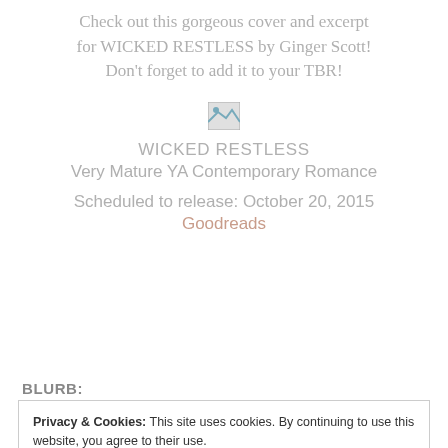Check out this gorgeous cover and excerpt for WICKED RESTLESS by Ginger Scott! Don't forget to add it to your TBR!
[Figure (illustration): Small broken/placeholder image icon for the book cover of WICKED RESTLESS]
WICKED RESTLESS
Very Mature YA Contemporary Romance
Scheduled to release: October 20, 2015
Goodreads
BLURB:
Privacy & Cookies: This site uses cookies. By continuing to use this website, you agree to their use. To find out more, including how to control cookies, see here: Cookie Policy
Close and accept